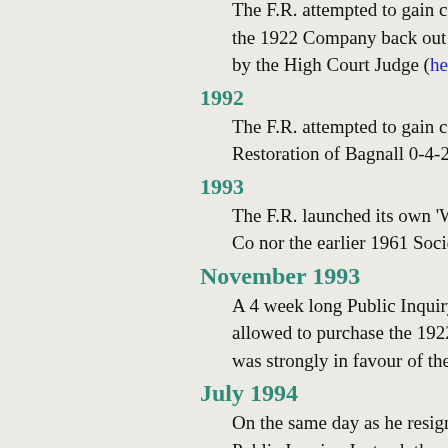The F.R. attempted to gain control of the 1922 Company back out of rec... by the High Court Judge (here is th...
1992
The F.R. attempted to gain control o...
Restoration of Bagnall 0-4-2T Gele...
1993
The F.R. launched its own 'Welsh H...
Co nor the earlier 1961 Society of t...
November 1993
A 4 week long Public Inquiry was h...
allowed to purchase the 1922 comp...
was strongly in favour of the joint W...
July 1994
On the same day as he resigned fro...
Public Inquiry. Instead, the applicat...
This decision attracted widespread...
basis on which the decision had be...
high cost of High Court litigation (W...
period of bitter animosity with the F...
August 1995
In order to further the overall objec...